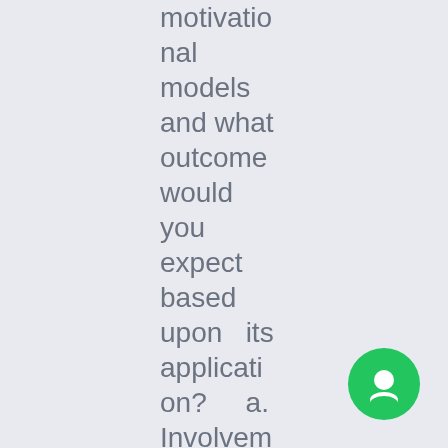motivational models and what outcome would you expect based upon its application? a. Involvement and empower
[Figure (illustration): Green circular chat/message icon in the bottom-right corner]